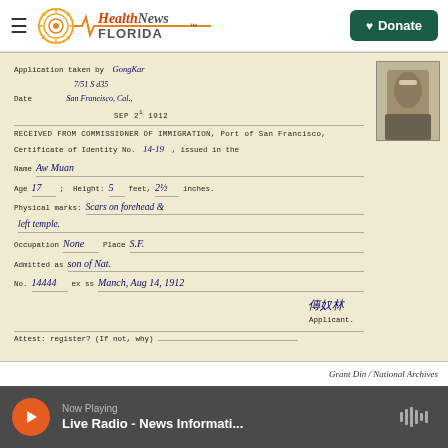Health News Florida — Donate button
[Figure (photo): Scanned historical immigration document: Certificate of Identity from Commissioner of Immigration, Port of San Francisco. Handwritten fields include: Application taken by GongKar, Date 7/51 S d35, San Francisco, Cal., SEP 21 1912. Certificate of Identity No. 14-19. Name: Aw Muan. Age 17; Height 5 feet, 2 1/2 inches. Physical marks: Scars on forehead & left temple. Occupation: None. Place: S.F. Admitted as son of Nat. No. 14444 ex ss March, Aug 14, 1912. Signature. Applicant. Attest: register? (If not, why). Small portrait photo in upper right corner.]
Grant Din / National Archives
Now Playing — Live Radio - News Informati...